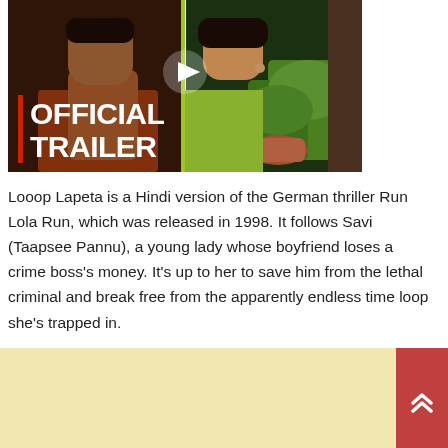[Figure (photo): Movie trailer thumbnail for Looop Lapeta showing two actors side by side with 'OFFICIAL TRAILER' text overlay and a play button. Left side shows a male actor in orange, right side shows a female actor in green near plants, divided by a green vertical line.]
Looop Lapeta is a Hindi version of the German thriller Run Lola Run, which was released in 1998. It follows Savi (Taapsee Pannu), a young lady whose boyfriend loses a crime boss's money. It's up to her to save him from the lethal criminal and break free from the apparently endless time loop she's trapped in.